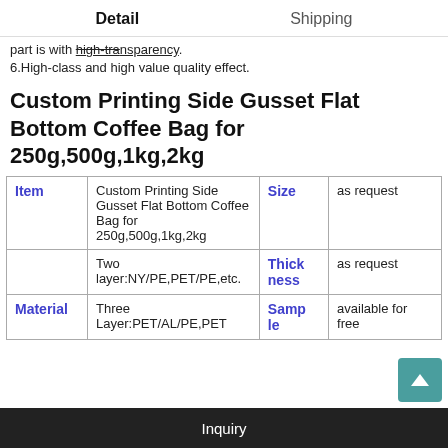Detail    Shipping
part is with high-transparency.
6.High-class and high value quality effect.
Custom Printing Side Gusset Flat Bottom Coffee Bag for 250g,500g,1kg,2kg
| Item |  | Size/Attr | Value |
| --- | --- | --- | --- |
| Item | Custom Printing Side Gusset Flat Bottom Coffee Bag for 250g,500g,1kg,2kg | Size | as request |
|  | Two layer:NY/PE,PET/PE,etc. | Thickness | as request |
| Material | Three Layer:PET/AL/PE,PET | Sample | available for free |
Inquiry